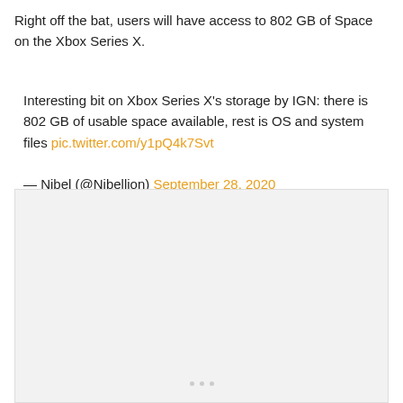Right off the bat, users will have access to 802 GB of Space on the Xbox Series X.
Interesting bit on Xbox Series X's storage by IGN: there is 802 GB of usable space available, rest is OS and system files pic.twitter.com/y1pQ4k7Svt

— Nibel (@Nibellion) September 28, 2020
[Figure (screenshot): Embedded tweet image placeholder with three dots at the bottom, light gray background]